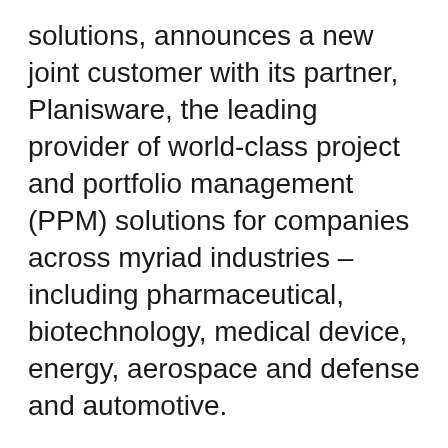solutions, announces a new joint customer with its partner, Planisware, the leading provider of world-class project and portfolio management (PPM) solutions for companies across myriad industries – including pharmaceutical, biotechnology, medical device, energy, aerospace and defense and automotive.
The Korean electronics company LG Display selected IFT's NPD solution, based on Planisware, for supporting its entire R&D management process.
This new customer is testament to the strength of the Innovation Framework Technologies (IFT) and Planisware relationship,